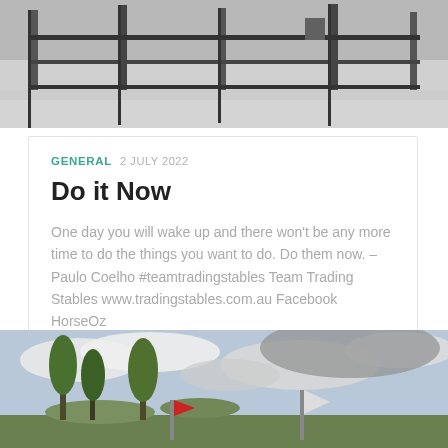[Figure (photo): Black and white photo of a farm fence or gate structure in a snowy or sandy landscape]
GENERAL 2 JULY 2022
Do it Now
One day you will wake up and there won't be any more time to do the things you want to do. Do them now. – Paulo Coelho #teamtradingstables Team Trading Stables www.tradingstables.com.au Facebook HorseOz
[Figure (photo): Color photo of trees and cloudy sky, with red and white flags or banners visible at the bottom]